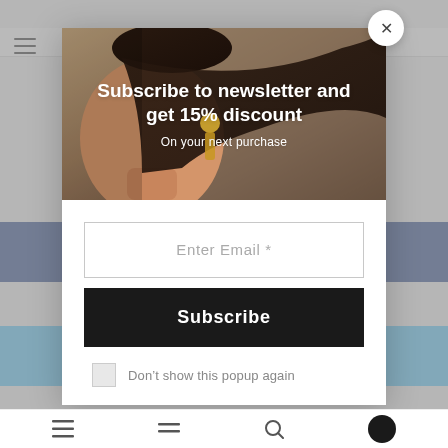[Figure (screenshot): E-commerce website newsletter subscription popup modal. Modal contains a fashion/jewelry photo of a woman wearing gold earrings with text overlay 'Subscribe to newsletter and get 15% discount' and 'On your next purchase'. Below the image are an email input field labeled 'Enter Email *', a black 'Subscribe' button, and a checkbox labeled 'Don't show this popup again'. A close (X) button is in the top right corner of the modal.]